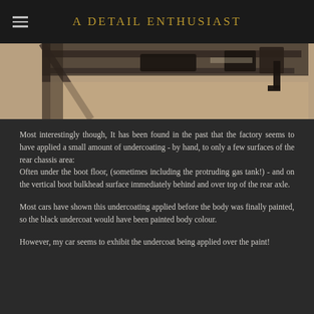A DETAIL ENTHUSIAST
[Figure (photo): Close-up photo of a vehicle undercarriage/chassis area showing metal framework and undercoating, taken from below or at an angle, with workshop floor visible in background.]
Most interestingly though, It has been found in the past that the factory seems to have applied a small amount of undercoating - by hand, to only a few surfaces of the rear chassis area:
Often under the boot floor, (sometimes including the protruding gas tank!) - and on the vertical boot bulkhead surface immediately behind and over top of the rear axle.
Most cars have shown this undercoating applied before the body was finally painted, so the black undercoat would have been painted body colour.
However, my car seems to exhibit the undercoat being applied over the paint!